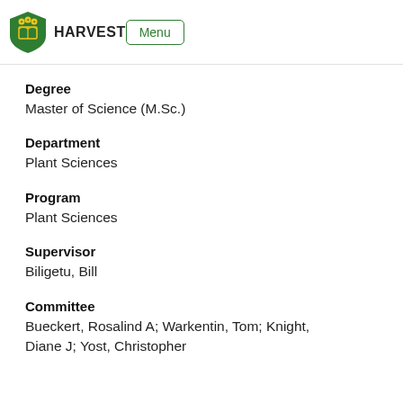HARVEST | Menu
resistance effect of N fertilizer application to alfalfa of pea at two of three sites in this study
Degree
Master of Science (M.Sc.)
Department
Plant Sciences
Program
Plant Sciences
Supervisor
Biligetu, Bill
Committee
Bueckert, Rosalind A; Warkentin, Tom; Knight, Diane J; Yost, Christopher